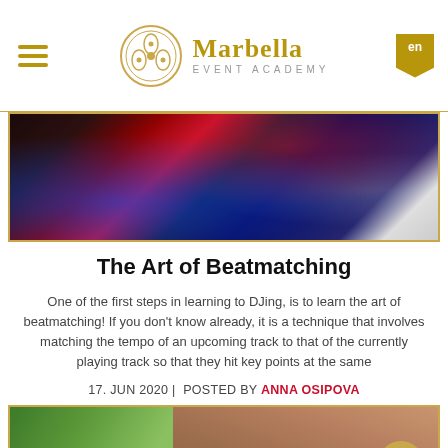Marbella Event Academy | en
[Figure (photo): DJ mixing board with colorful red, blue and dark equipment]
The Art of Beatmatching
One of the first steps in learning to DJing, is to learn the art of beatmatching! If you don't know already, it is a technique that involves matching the tempo of an upcoming track to that of the currently playing track so that they hit key points at the same
17. JUN 2020 | POSTED BY ANNA OSIPOVA
[Figure (photo): Hands near a green plant, person doing floral arrangement or gardening]